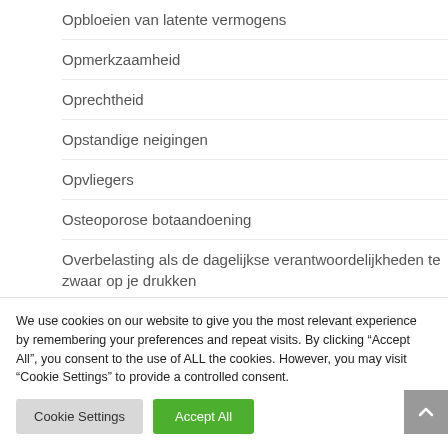Opbloeien van latente vermogens
Opmerkzaamheid
Oprechtheid
Opstandige neigingen
Opvliegers
Osteoporose botaandoening
Overbelasting als de dagelijkse verantwoordelijkheden te zwaar op je drukken
Overgang
We use cookies on our website to give you the most relevant experience by remembering your preferences and repeat visits. By clicking “Accept All”, you consent to the use of ALL the cookies. However, you may visit “Cookie Settings” to provide a controlled consent.